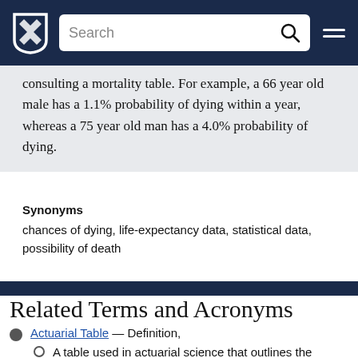Search [navigation bar with logo]
consulting a mortality table. For example, a 66 year old male has a 1.1% probability of dying within a year, whereas a 75 year old man has a 4.0% probability of dying.
Synonyms
chances of dying, life-expectancy data, statistical data, possibility of death
Related Terms and Acronyms
Actuarial Table — Definition,
A table used in actuarial science that outlines the statistical probability that an individual of a specific